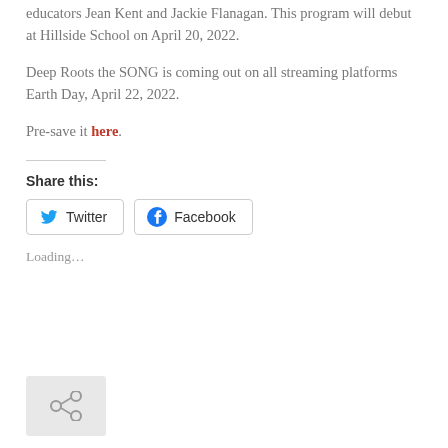educators Jean Kent and Jackie Flanagan. This program will debut at Hillside School on April 20, 2022.
Deep Roots the SONG is coming out on all streaming platforms Earth Day, April 22, 2022.
Pre-save it here.
Share this:
Twitter
Facebook
Loading...